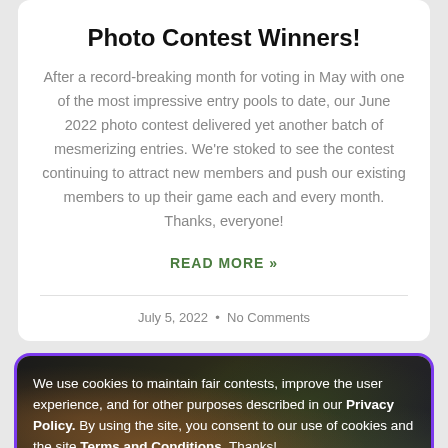Photo Contest Winners!
After a record-breaking month for voting in May with one of the most impressive entry pools to date, our June 2022 photo contest delivered yet another batch of mesmerizing entries. We're stoked to see the contest continuing to attract new members and push our existing members to up their game each and every month. Thanks, everyone!
READ MORE »
July 5, 2022  •  No Comments
We use cookies to maintain fair contests, improve the user experience, and for other purposes described in our Privacy Policy. By using the site, you consent to our use of cookies and the site Terms and Conditions. Thanks!
Got it!